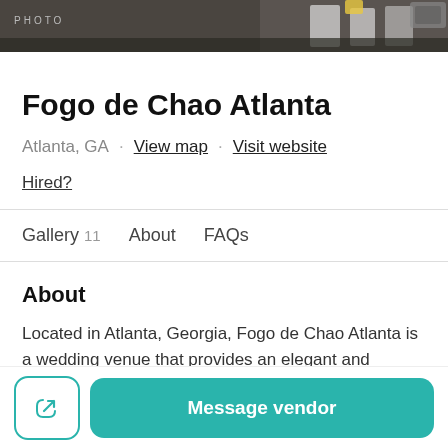[Figure (photo): Dark photo bar showing white chairs/wedding decor, with PHOTO label on left and partial image top, a thumbnail top right]
Fogo de Chao Atlanta
Atlanta, GA · View map · Visit website
Hired?
Gallery 11   About   FAQs
About
Located in Atlanta, Georgia, Fogo de Chao Atlanta is a wedding venue that provides an elegant and authentic
Message vendor